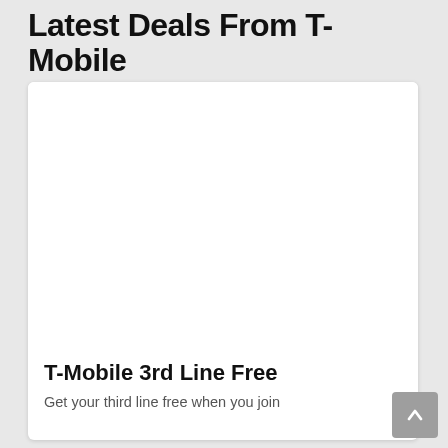Latest Deals From T-Mobile
[Figure (other): White card/panel with empty image area placeholder at top]
T-Mobile 3rd Line Free
Get your third line free when you join